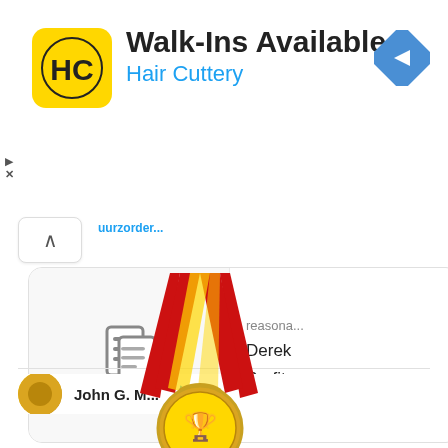[Figure (screenshot): Advertisement banner for Hair Cuttery with yellow logo, text Walk-Ins Available, blue navigation arrow icon, and small play/close controls on left side.]
[Figure (screenshot): Twitter/social media card showing a tweet with expand button (caret), a link card with document icon and text 'reasona... Derek Parfit on...', heart icon with count 1, and partial next tweet from John G. M... with Twitter bird icon.]
[Figure (illustration): Gold award medal with red ribbon at the top, partially visible at the bottom of the page.]